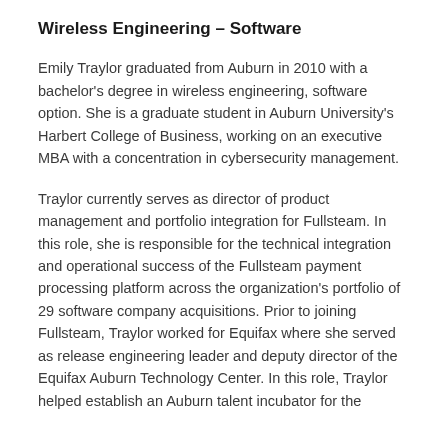Wireless Engineering – Software
Emily Traylor graduated from Auburn in 2010 with a bachelor's degree in wireless engineering, software option. She is a graduate student in Auburn University's Harbert College of Business, working on an executive MBA with a concentration in cybersecurity management.
Traylor currently serves as director of product management and portfolio integration for Fullsteam. In this role, she is responsible for the technical integration and operational success of the Fullsteam payment processing platform across the organization's portfolio of 29 software company acquisitions. Prior to joining Fullsteam, Traylor worked for Equifax where she served as release engineering leader and deputy director of the Equifax Auburn Technology Center. In this role, Traylor helped establish an Auburn talent incubator for the [continues]